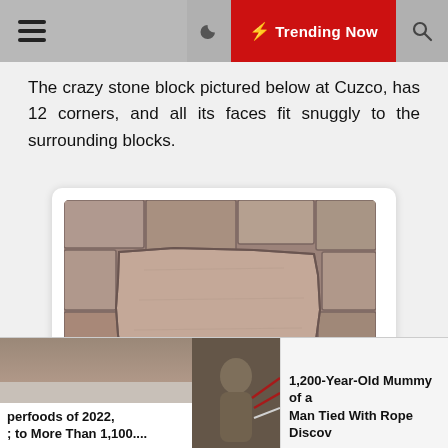Trending Now
The crazy stone block pictured below at Cuzco, has 12 corners, and all its faces fit snuggly to the surrounding blocks.
[Figure (photo): Close-up photograph of an ancient Inca stone wall in Cuzco, showing a large central stone block with 12 corners fitting perfectly against surrounding irregular stone blocks.]
perfoods of 2022, ; to More Than 1,100....
[Figure (photo): Small thumbnail image of an ancient mummy tied with rope.]
1,200-Year-Old Mummy of a Man Tied With Rope Discov